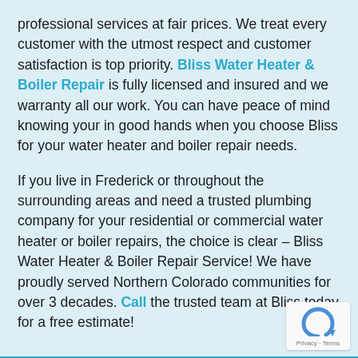professional services at fair prices. We treat every customer with the utmost respect and customer satisfaction is top priority. Bliss Water Heater & Boiler Repair is fully licensed and insured and we warranty all our work. You can have peace of mind knowing your in good hands when you choose Bliss for your water heater and boiler repair needs.
If you live in Frederick or throughout the surrounding areas and need a trusted plumbing company for your residential or commercial water heater or boiler repairs, the choice is clear – Bliss Water Heater & Boiler Repair Service! We have proudly served Northern Colorado communities for over 3 decades. Call the trusted team at Bliss today for a free estimate!
[Figure (logo): reCAPTCHA badge with Privacy and Terms text]